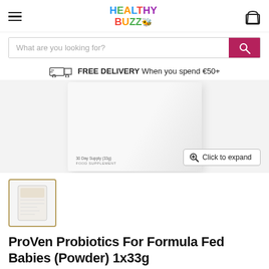Healthy Buzz logo and navigation
What are you looking for?
FREE DELIVERY When you spend €50+
[Figure (photo): ProVen Probiotics For Formula Fed Babies (Powder) 1x33g product box, white/grey packaging showing '30 Day Supply (33g) FOOD SUPPLEMENT']
[Figure (photo): Thumbnail image of ProVen Probiotics For Formula Fed Babies product (small preview)]
ProVen Probiotics For Formula Fed Babies (Powder) 1x33g